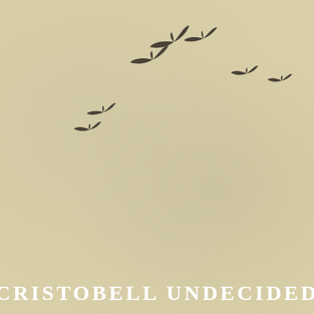[Figure (illustration): Seven bird silhouettes in dark brown/gray flying in a loose arc formation against a warm beige/tan textured background. The birds are arranged in a gentle curve from lower-left to upper-right, with two birds on the left side lower, three birds clustered in the upper middle area, and two birds on the right side.]
CRISTOBELL UNDECIDED